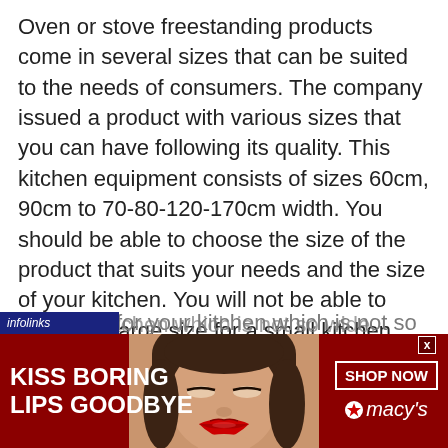Oven or stove freestanding products come in several sizes that can be suited to the needs of consumers. The company issued a product with various sizes that you can have following its quality. This kitchen equipment consists of sizes 60cm, 90cm to 70-80-120-170cm width. You should be able to choose the size of the product that suits your needs and the size of your kitchen. You will not be able to choose a large size for a small kitchen, isn't it? So this size selection is the one of important points.
A 60 cm freestanding oven or stove is a common size and is widely used by many people. This machine is [partially visible] for your kitchen which is not so wide. Althoug[h]
[Figure (other): Advertisement banner: dark red background with 'KISS BORING LIPS GOODBYE' text on left, woman's face in center, 'SHOP NOW' button and Macy's logo on right. Infolinks label bar at top-left.]